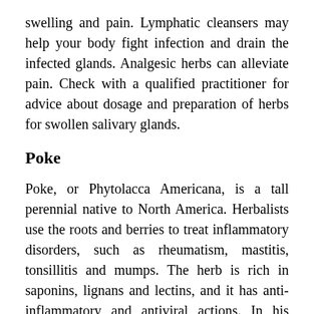swelling and pain. Lymphatic cleansers may help your body fight infection and drain the infected glands. Analgesic herbs can alleviate pain. Check with a qualified practitioner for advice about dosage and preparation of herbs for swollen salivary glands.
Poke
Poke, or Phytolacca Americana, is a tall perennial native to North America. Herbalists use the roots and berries to treat inflammatory disorders, such as rheumatism, mastitis, tonsillitis and mumps. The herb is rich in saponins, lignans and lectins, and it has anti-inflammatory and antiviral actions. In his book “Medical Herbalism: The Science and Practice of Herbal Medicine,” clinical herbalist David Hoffmann recommends poke for conditions